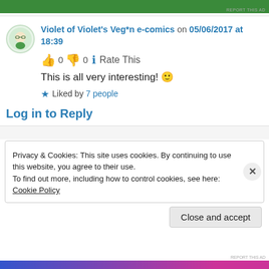[Figure (screenshot): Green ad banner at top of page]
Violet of Violet's Veg*n e-comics on 05/06/2017 at 18:39
👍 0 👎 0 ℹ Rate This
This is all very interesting! 🙂
★ Liked by 7 people
Log in to Reply
Privacy & Cookies: This site uses cookies. By continuing to use this website, you agree to their use.
To find out more, including how to control cookies, see here: Cookie Policy
Close and accept